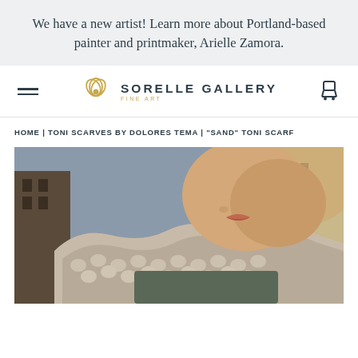We have a new artist! Learn more about Portland-based painter and printmaker, Arielle Zamora.
[Figure (logo): Sorelle Gallery Fine Art logo with decorative floral emblem and cart icon]
HOME | TONI SCARVES BY DOLORES TEMA | "SAND" TONI SCARF
[Figure (photo): Close-up photo of a person wearing a chunky knit sand-colored scarf around their neck, with urban background]